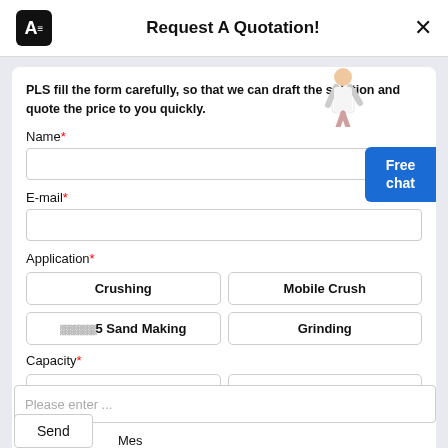Request A Quotation!
PLS fill the form carefully, so that we can draft the solution and quote the price to you quickly.
Name*
E-mail*
Application*
Crushing
Mobile Crush
Sand Making
Grinding
Capacity*
>50 TPH
>30 TPH
Please enter ...
Send
Mes
[Figure (illustration): Free chat badge - blue rounded button with text 'Free chat']
[Figure (illustration): Person/agent illustration in top right of form]